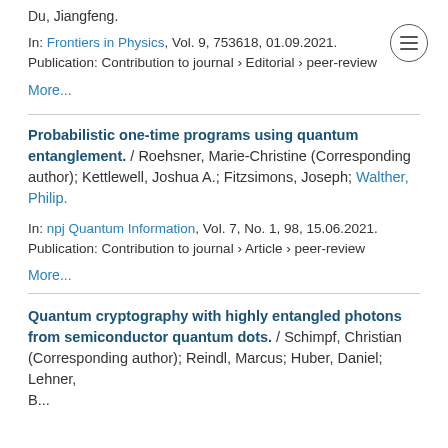Du, Jiangfeng.
In: Frontiers in Physics, Vol. 9, 753618, 01.09.2021.
Publication: Contribution to journal › Editorial › peer-review
More...
Probabilistic one-time programs using quantum entanglement.
/ Roehsner, Marie-Christine (Corresponding author); Kettlewell, Joshua A.; Fitzsimons, Joseph; Walther, Philip.
In: npj Quantum Information, Vol. 7, No. 1, 98, 15.06.2021.
Publication: Contribution to journal › Article › peer-review
More...
Quantum cryptography with highly entangled photons from semiconductor quantum dots.
/ Schimpf, Christian (Corresponding author); Reindl, Marcus; Huber, Daniel; Lehner, B...